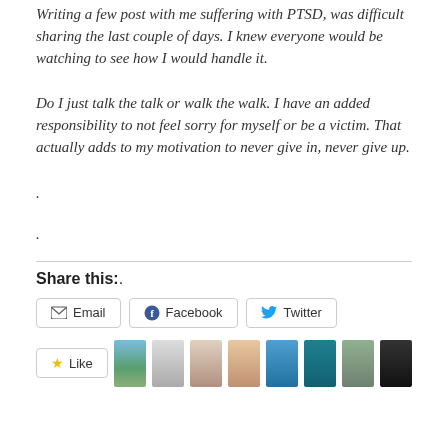Writing a few post with me suffering with PTSD, was difficult sharing the last couple of days. I knew everyone would be watching to see how I would handle it.
Do I just talk the talk or walk the walk. I have an added responsibility to not feel sorry for myself or be a victim. That actually adds to my motivation to never give in, never give up.
.
.
Share this:.
Email  Facebook  Twitter
[Figure (other): Like button followed by a row of small thumbnail images of people and landscapes]